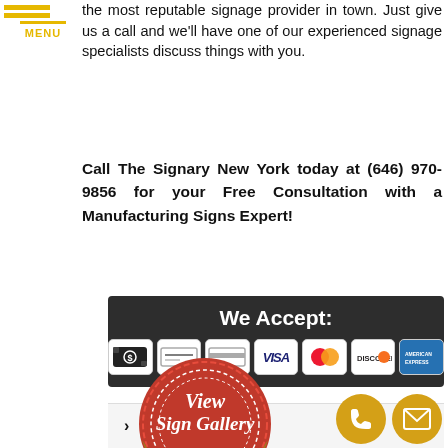[Figure (other): Hamburger menu icon with three horizontal gold/yellow lines and the word MENU below in gold text]
the most reputable signage provider in town. Just give us a call and we'll have one of our experienced signage specialists discuss things with you.
Call The Signary New York today at (646) 970-9856 for your Free Consultation with a Manufacturing Signs Expert!
[Figure (infographic): Dark gray We Accept payment banner showing icons: cash, check/debit, credit card, VISA, Mastercard, Discover, American Express]
[Figure (other): Red circular badge seal with gold banner reading CLICK HERE, text inside says View Sign Gallery]
Sign Types
A-frame Signs
ADA Signs
[Figure (other): Gold phone button circle icon]
[Figure (other): Gold email/envelope button circle icon]